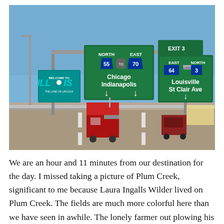[Figure (photo): Highway photo showing interstate signs in Illinois: signs for North 55, East 70 to Chicago and Indianapolis, East 64 / North 3 to Louisville and St Clair Ave, Exit 3, and a Welcome to Illinois sign. A red truck and other vehicles are on the highway beneath the overhead signs.]
We are an hour and 11 minutes from our destination for the day. I missed taking a picture of Plum Creek, significant to me because Laura Ingalls Wilder lived on Plum Creek. The fields are much more colorful here than we have seen in awhile. The lonely farmer out plowing his